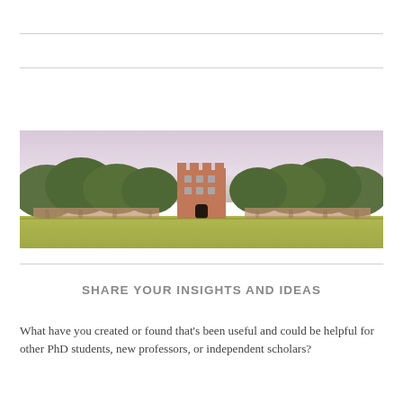[Figure (photo): Wide panoramic photo of a red brick Gothic-style university building with castle-like battlements, surrounded by tall green trees on a manicured lawn, under a pinkish-purple sky.]
SHARE YOUR INSIGHTS AND IDEAS
What have you created or found that's been useful and could be helpful for other PhD students, new professors, or independent scholars?